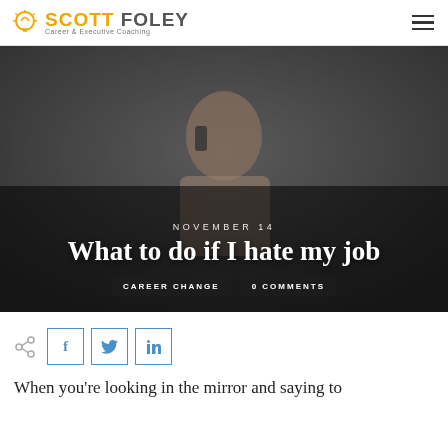SCOTT FOLEY — Career & Executive Coaching
[Figure (photo): Man with frustrated expression on a phone call against a dark chalkboard background, overlaid with blog post title, date, and category tags]
What to do if I hate my job
NOVEMBER 14
CAREER CHANGE   0 COMMENTS
[Figure (infographic): Social share icons: share icon, Facebook, Twitter, LinkedIn]
When you're looking in the mirror and saying to